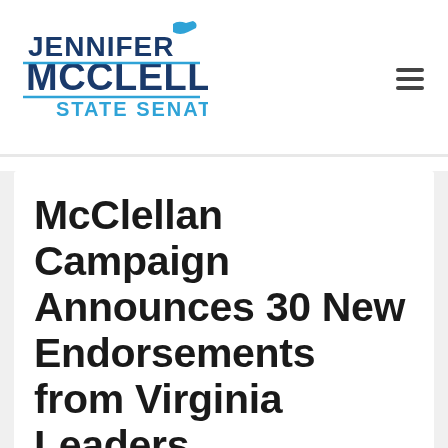[Figure (logo): Jennifer McClellan State Senate campaign logo with blue text and Virginia state outline graphic]
McClellan Campaign Announces 30 New Endorsements from Virginia Leaders
Sen. McClellan Now Has 75 Endorsements from Across Virginia